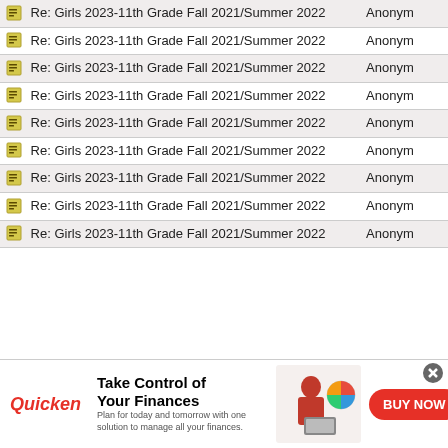| Subject | Author |
| --- | --- |
| Re: Girls 2023-11th Grade Fall 2021/Summer 2022 | Anonym |
| Re: Girls 2023-11th Grade Fall 2021/Summer 2022 | Anonym |
| Re: Girls 2023-11th Grade Fall 2021/Summer 2022 | Anonym |
| Re: Girls 2023-11th Grade Fall 2021/Summer 2022 | Anonym |
| Re: Girls 2023-11th Grade Fall 2021/Summer 2022 | Anonym |
| Re: Girls 2023-11th Grade Fall 2021/Summer 2022 | Anonym |
| Re: Girls 2023-11th Grade Fall 2021/Summer 2022 | Anonym |
| Re: Girls 2023-11th Grade Fall 2021/Summer 2022 | Anonym |
| Re: Girls 2023-11th Grade Fall 2021/Summer 2022 | Anonym |
[Figure (infographic): Quicken advertisement banner: Take Control of Your Finances - BUY NOW button]